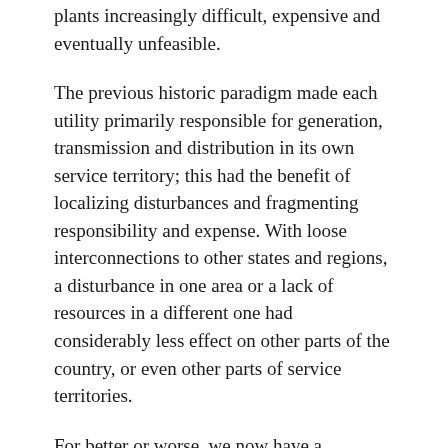plants increasingly difficult, expensive and eventually unfeasible.
The previous historic paradigm made each utility primarily responsible for generation, transmission and distribution in its own service territory; this had the benefit of localizing disturbances and fragmenting responsibility and expense. With loose interconnections to other states and regions, a disturbance in one area or a lack of resources in a different one had considerably less effect on other parts of the country, or even other parts of service territories.
For better or worse, we now have a nationwide interconnected grid – albeit one that was neither designed for the purpose nor serves it adequately. Although the existing grid can be improved, the expense would be massive, and probably cost